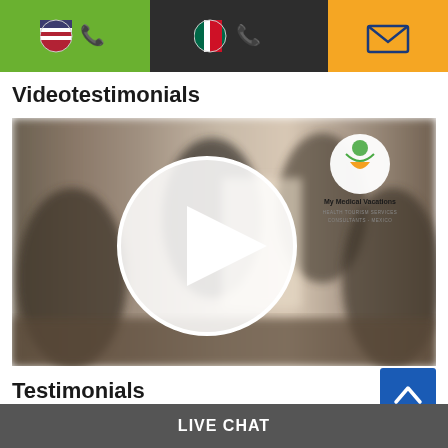[Figure (screenshot): Website header bar with three sections: green section with US flag and phone icon, dark section with Mexican flag and phone icon, orange section with email/envelope icon]
Videotestimonials
[Figure (photo): Video player showing blurred group of people seated at a table, with a large white play button circle overlay in the center and a My Medical Vacations logo in the top right corner]
Testimonials
[Figure (other): Blue scroll-to-top button with upward chevron arrow]
LIVE CHAT